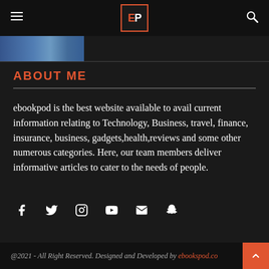EP logo with hamburger menu and search icon
[Figure (screenshot): Partial thumbnail image strip visible at top]
ABOUT ME
ebookpod is the best website available to avail current information relating to Technology, Business, travel, finance, insurance, business, gadgets,health,reviews and some other numerous categories. Here, our team members deliver informative articles to cater to the needs of people.
[Figure (infographic): Social media icons: Facebook, Twitter, Instagram, YouTube, Email, Snapchat]
@2021 - All Right Reserved. Designed and Developed by ebookspod.co